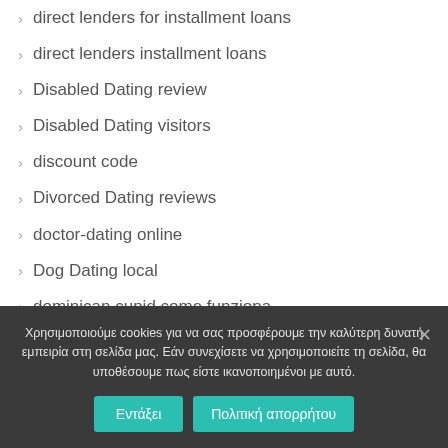direct lenders for installment loans
direct lenders installment loans
Disabled Dating review
Disabled Dating visitors
discount code
Divorced Dating reviews
doctor-dating online
Dog Dating local
dominican cupid come funziona
Χρησιμοποιούμε cookies για να σας προσφέρουμε την καλύτερη δυνατή εμπειρία στη σελίδα μας. Εάν συνεχίσετε να χρησιμοποιείτε τη σελίδα, θα υποθέσουμε πως είστε ικανοποιημένοι με αυτό.
Εντάξει   Πολιτική απορρήτου